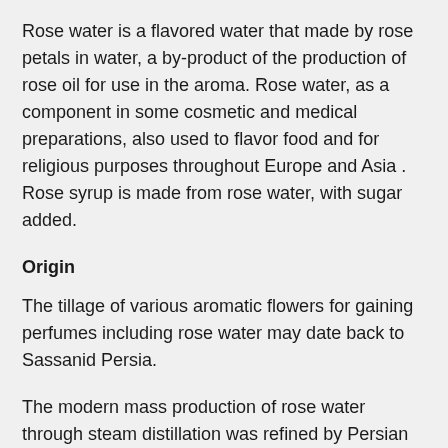Rose water is a flavored water that made by rose petals in water, a by-product of the production of rose oil for use in the aroma. Rose water, as a component in some cosmetic and medical preparations, also used to flavor food and for religious purposes throughout Europe and Asia . Rose syrup is made from rose water, with sugar added.
Origin
The tillage of various aromatic flowers for gaining perfumes including rose water may date back to Sassanid Persia.
The modern mass production of rose water through steam distillation was refined by Persian chemist Avicenna in Medieval Islamic world which led to more efficient and economic uses for perfumery industries. This allowed for more efficient and beneficial trade.